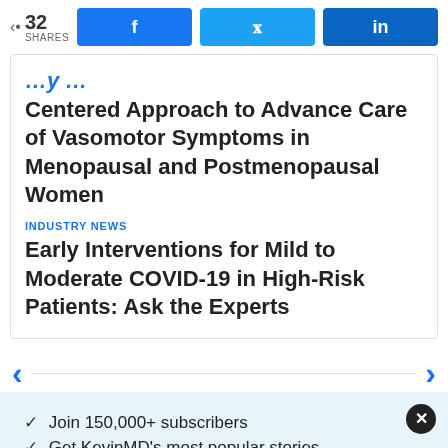32 SHARES | Facebook | Twitter | LinkedIn
Centered Approach to Advance Care of Vasomotor Symptoms in Menopausal and Postmenopausal Women
INDUSTRY NEWS
Early Interventions for Mild to Moderate COVID-19 in High-Risk Patients: Ask the Experts
✓ Join 150,000+ subscribers
✓ Get KevinMD's most popular stories
Email | Subscribe. It's free.